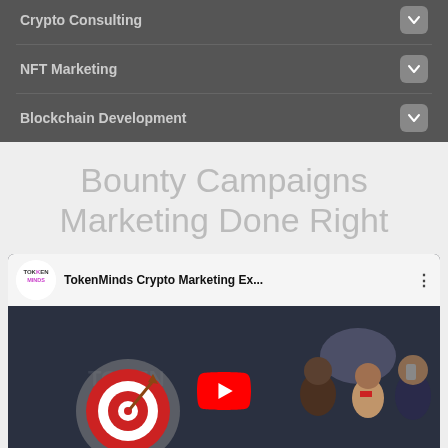Crypto Consulting
NFT Marketing
Blockchain Development
Bounty Campaigns Marketing Done Right
[Figure (screenshot): YouTube video thumbnail for TokenMinds Crypto Marketing Ex... with TokenMinds logo, target bullseye illustration, animated characters, and YouTube play button overlay]
START TELEGRAM CHAT | START WHATSAPP CHAT | SCHEDULE CALL